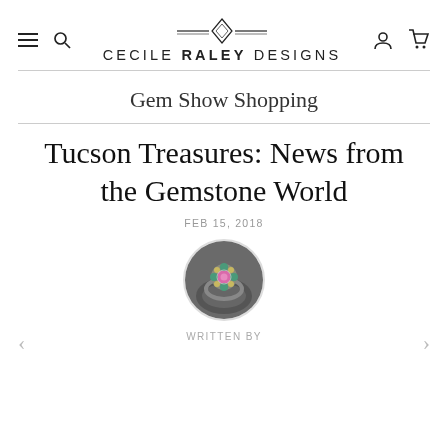CECILE RALEY DESIGNS
Gem Show Shopping
Tucson Treasures: News from the Gemstone World
FEB 15, 2018
[Figure (photo): Circular author thumbnail photo showing a colorful gemstone ring]
WRITTEN BY